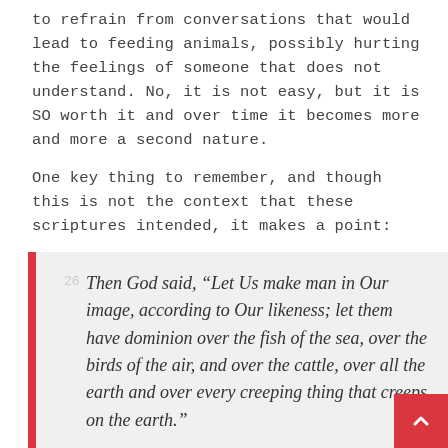to refrain from conversations that would lead to feeding animals, possibly hurting the feelings of someone that does not understand. No, it is not easy, but it is SO worth it and over time it becomes more and more a second nature.
One key thing to remember, and though this is not the context that these scriptures intended, it makes a point:
26 Then God said, “Let Us make man in Our image, according to Our likeness; let them have dominion over the fish of the sea, over the birds of the air, and over the cattle, over all the earth and over every creeping thing that creeps on the earth.”